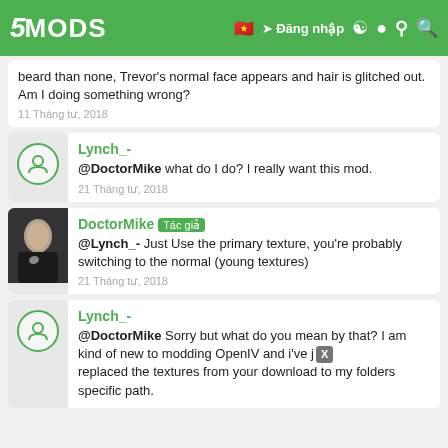5MODS — Đăng nhập
beard than none, Trevor's normal face appears and hair is glitched out. Am I doing something wrong?
11 Tháng tư, 2018
Lynch_-
@DoctorMike what do I do? I really want this mod.
21 Tháng tư, 2018
DoctorMike [Tác giả]
@Lynch_- Just Use the primary texture, you're probably switching to the normal (young textures)
21 Tháng tư, 2018
Lynch_-
@DoctorMike Sorry but what do you mean by that? I am kind of new to modding OpenIV and i've just replaced the textures from your download to my folders specific path.